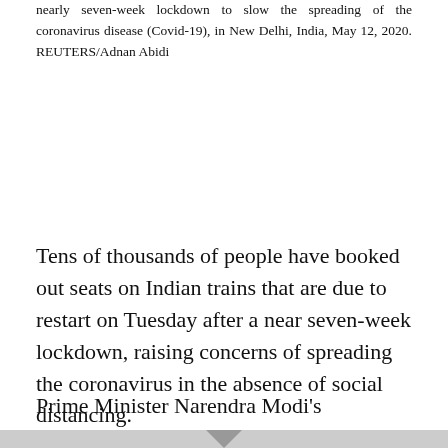nearly seven-week lockdown to slow the spreading of the coronavirus disease (Covid-19), in New Delhi, India, May 12, 2020. REUTERS/Adnan Abidi
Tens of thousands of people have booked out seats on Indian trains that are due to restart on Tuesday after a near seven-week lockdown, raising concerns of spreading the coronavirus in the absence of social distancing.
Prime Minister Narendra Modi's government is starting to pull back from one of the world's tightest